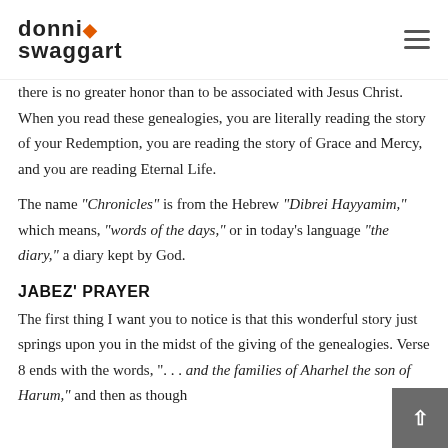donnie swaggart [logo with hamburger menu]
there is no greater honor than to be associated with Jesus Christ. When you read these genealogies, you are literally reading the story of your Redemption, you are reading the story of Grace and Mercy, and you are reading Eternal Life.
The name "Chronicles" is from the Hebrew "Dibrei Hayyamim," which means, "words of the days," or in today's language "the diary," a diary kept by God.
JABEZ' PRAYER
The first thing I want you to notice is that this wonderful story just springs upon you in the midst of the giving of the genealogies. Verse 8 ends with the words, ". . . and the families of Aharhel the son of Harum," and then as though